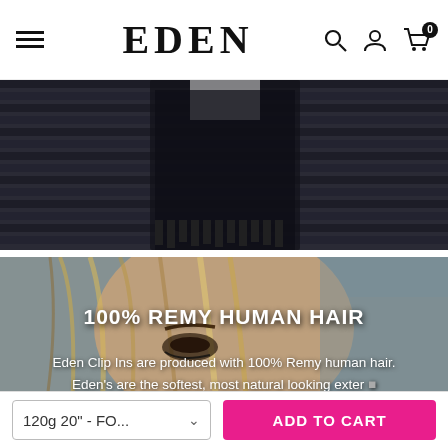EDEN — navigation bar with hamburger menu, logo, search, account, and cart icons
[Figure (photo): Top hero image: partial view of a person in black outfit near dark horizontal slats/blinds background]
[Figure (photo): Main hero image: close-up of a blonde woman with long straight hair and dramatic eye makeup, outdoors]
100% REMY HUMAN HAIR
Eden Clip Ins are produced with 100% Remy human hair. Eden's are the softest, most natural looking exter
120g 20" - FO...
ADD TO CART